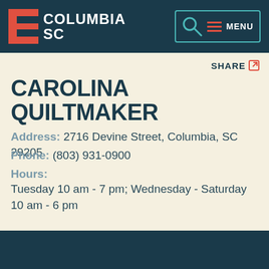COLUMBIA SC — header with logo and menu
SHARE
CAROLINA QUILTMAKER
Address: 2716 Devine Street, Columbia, SC 29205
Phone: (803) 931-0900
Hours: Tuesday 10 am - 7 pm; Wednesday - Saturday 10 am - 6 pm